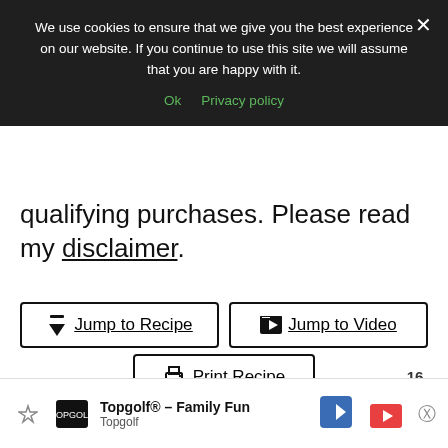We use cookies to ensure that we give you the best experience on our website. If you continue to use this site we will assume that you are happy with it.
Ok   Privacy policy
qualifying purchases. Please read my disclaimer.
↓ Jump to Recipe
▶ Jump to Video
🖨 Print Recipe
16
An easy creamy vegan cheese sauce made with raw cashews and spices. This versatile cheese sau…
Topgolf® – Family Fun  Topgolf